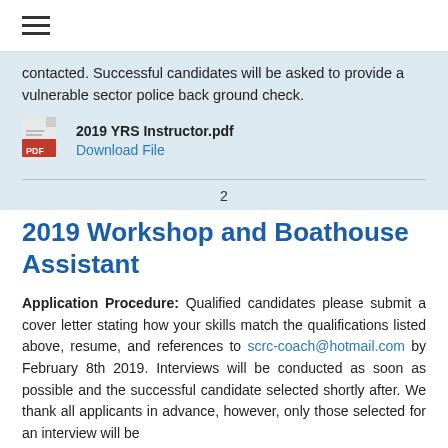≡
contacted. Successful candidates will be asked to provide a vulnerable sector police back ground check.
[Figure (other): PDF icon with filename '2019 YRS Instructor.pdf' and 'Download File' link]
2
2019 Workshop and Boathouse Assistant
Application Procedure: Qualified candidates please submit a cover letter stating how your skills match the qualifications listed above, resume, and references to scrc-coach@hotmail.com by February 8th 2019. Interviews will be conducted as soon as possible and the successful candidate selected shortly after. We thank all applicants in advance, however, only those selected for an interview will be